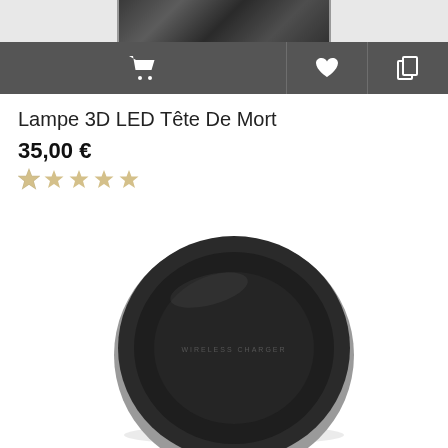[Figure (screenshot): Top partial product image showing a dark ornate skull lamp product photo cropped at top]
[Figure (infographic): Dark grey toolbar with cart icon, heart/wishlist icon, and copy/duplicate icon]
Lampe 3D LED Tête De Mort
35,00 €
[Figure (other): Five empty/unfilled star rating icons in tan/beige color]
[Figure (photo): Black circular wireless charger pad with silver rim and 'WIRELESS CHARGER' text on surface, photographed on white background]